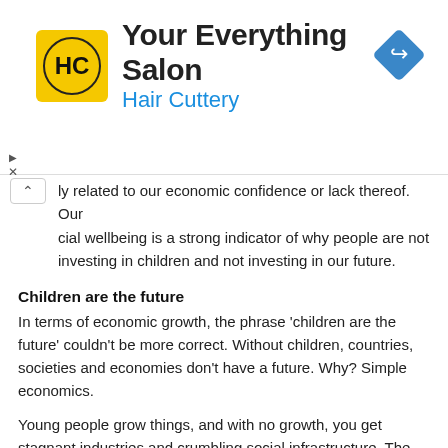[Figure (logo): Hair Cuttery advertisement banner with HC logo in yellow square, title 'Your Everything Salon', subtitle 'Hair Cuttery' in blue, and blue navigation diamond icon on right]
ly related to our economic confidence or lack thereof. Our cial wellbeing is a strong indicator of why people are not investing in children and not investing in our future.
Children are the future
In terms of economic growth, the phrase 'children are the future' couldn't be more correct. Without children, countries, societies and economies don't have a future. Why? Simple economics.
Young people grow things, and with no growth, you get stagnant industries and crumbling social infrastructure. The young are the energy and the value in every society. They create opportunities; they tackle problems; they strive to change things and innovate.
Older people stagnate, they become more conservative, they don't take risks, they entrench their ideas and ideologies and the country stalls and then declines. Old legs bad, young legs good.